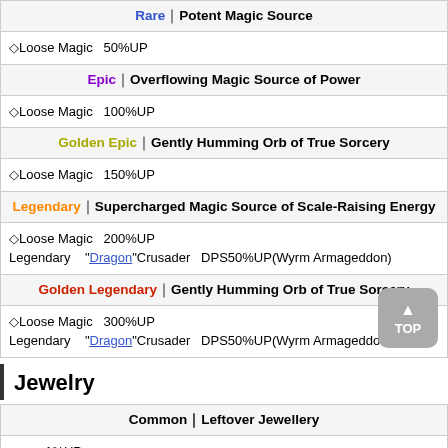| Rare｜Potent Magic Source |
| ◇Loose Magic　　　50%UP |
| Epic｜Overflowing Magic Source of Power |
| ◇Loose Magic　　　100%UP |
| Golden Epic｜Gently Humming Orb of True Sorcery |
| ◇Loose Magic　　　150%UP |
| Legendary｜Supercharged Magic Source of Scale-Raising Energy |
| ◇Loose Magic　　　200%UP
Legendary　　　　"Dragon"Crusader　　　DPS50%UP(Wyrm Armageddon) |
| Golden Legendary｜Gently Humming Orb of True Sorcery |
| ◇Loose Magic　　　300%UP
Legendary　　　　"Dragon"Crusader　　　DPS50%UP(Wyrm Armageddon) |
Jewelry
| Common｜Leftover Jewellery |
| 　　　　　　　　1%UP |
| Uncommon｜Mis-matched Jewellery |